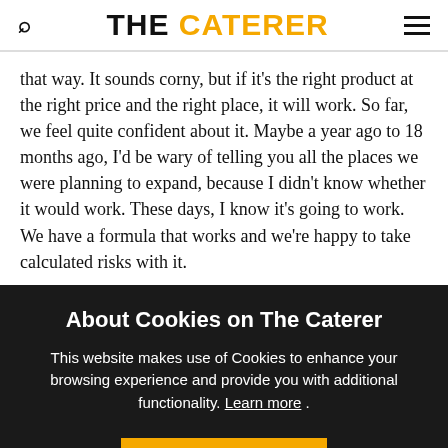THE CATERER
that way. It sounds corny, but if it's the right product at the right price and the right place, it will work. So far, we feel quite confident about it. Maybe a year ago to 18 months ago, I'd be wary of telling you all the places we were planning to expand, because I didn't know whether it would work. These days, I know it's going to work. We have a formula that works and we're happy to take calculated risks with it.
About Cookies on The Caterer
This website makes use of Cookies to enhance your browsing experience and provide you with additional functionality. Learn more .
ACCEPT